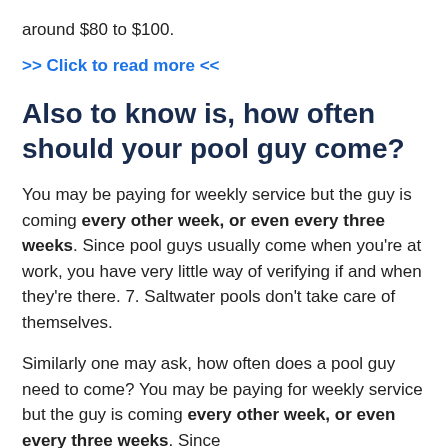around $80 to $100.
>> Click to read more <<
Also to know is, how often should your pool guy come?
You may be paying for weekly service but the guy is coming every other week, or even every three weeks. Since pool guys usually come when you're at work, you have very little way of verifying if and when they're there. 7. Saltwater pools don't take care of themselves.
Similarly one may ask, how often does a pool guy need to come? You may be paying for weekly service but the guy is coming every other week, or even every three weeks. Since